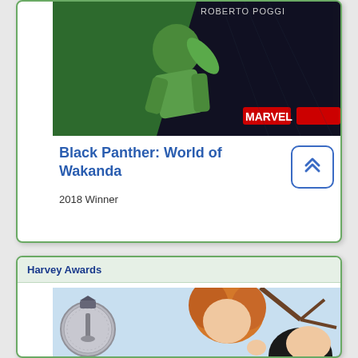[Figure (illustration): Comic book cover for Black Panther: World of Wakanda, showing a figure in green against a dark background with Marvel logo]
Black Panther: World of Wakanda
2018 Winner
Harvey Awards
[Figure (illustration): Comic book cover with a Harvey Award medal overlaid, showing a character with orange/red hair against a background with trees]